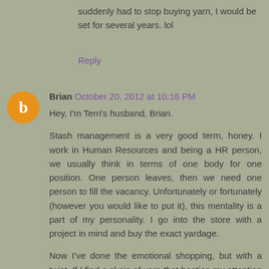suddenly had to stop buying yarn, I would be set for several years. lol
Reply
Brian October 20, 2012 at 10:16 PM
Hey, I'm Terri's husband, Brian.
Stash management is a very good term, honey. I work in Human Resources and being a HR person, we usually think in terms of one body for one position. One person leaves, then we need one person to fill the vacancy. Unfortunately or fortunately (however you would like to put it), this mentality is a part of my personality. I go into the store with a project in mind and buy the exact yardage.
Now I've done the emotional shopping, but with a twist. If I find a skein of yarn that hogties my attention and makes it squeal, I immediately go to the computer to marry it to a pattern. I also must have a person in mind. On a side note: why are men patterns so skimpy? I digress. Needless to